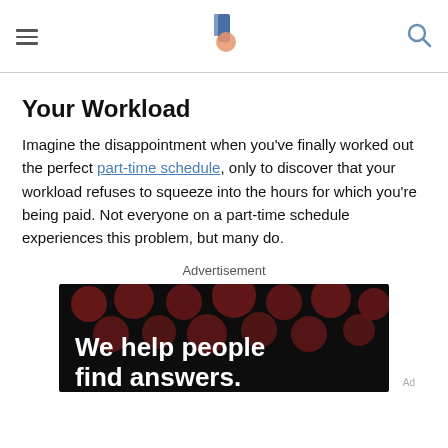Navigation header with hamburger menu, site logo, and search icon
Your Workload
Imagine the disappointment when you've finally worked out the perfect part-time schedule, only to discover that your workload refuses to squeeze into the hours for which you're being paid. Not everyone on a part-time schedule experiences this problem, but many do.
Advertisement
[Figure (other): Advertisement banner with black background, dark red polka dots, and white bold text reading 'We help people find answers.' with 'Ad' label.]